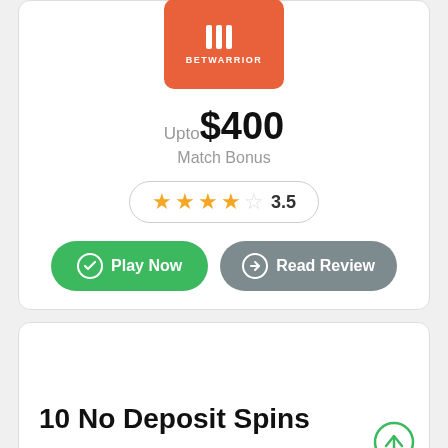[Figure (logo): BetWarrior logo on orange/red background with stylized WW icon]
Upto $400 Match Bonus
3.5 star rating
Play Now
Read Review
10 No Deposit Spins